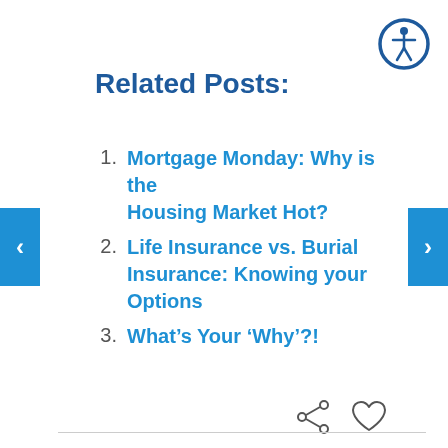[Figure (other): Accessibility icon — circle with blue border containing a white person/wheelchair symbol]
Related Posts:
Mortgage Monday: Why is the Housing Market Hot?
Life Insurance vs. Burial Insurance: Knowing your Options
What's Your 'Why'?!
[Figure (other): Share icon (network/three-circles connected) and heart/like icon]
[Figure (other): Left navigation arrow (blue rectangle with white chevron pointing left)]
[Figure (other): Right navigation arrow (blue rectangle with white chevron pointing right)]